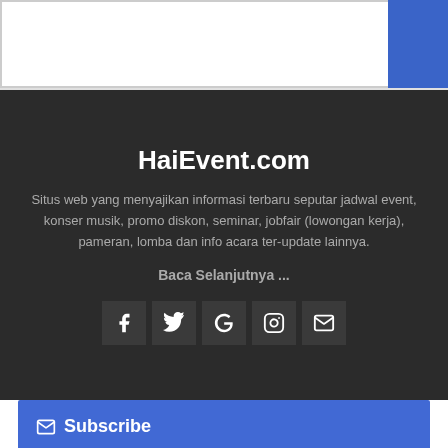[Figure (screenshot): Top white navigation bar with a blue button on the right]
HaiEvent.com
Situs web yang menyajikan informasi terbaru seputar jadwal event, konser musik, promo diskon, seminar, jobfair (lowongan kerja), pameran, lomba dan info acara ter-update lainnya.
Baca Selanjutnya ...
[Figure (infographic): Row of five social media icon buttons: Facebook, Twitter, Google, Instagram, Email]
Subscribe
Berlangganan via email gratis. Dapatkan setiap